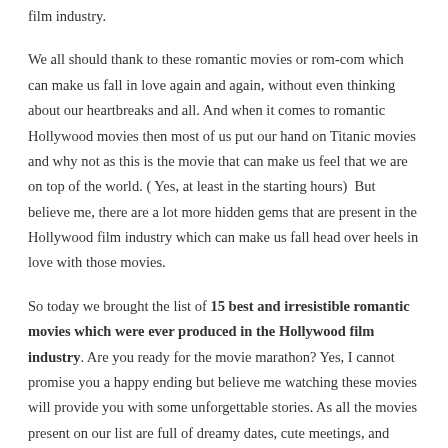film industry.
We all should thank to these romantic movies or rom-com which can make us fall in love again and again, without even thinking about our heartbreaks and all. And when it comes to romantic Hollywood movies then most of us put our hand on Titanic movies and why not as this is the movie that can make us feel that we are on top of the world. ( Yes, at least in the starting hours)  But believe me, there are a lot more hidden gems that are present in the Hollywood film industry which can make us fall head over heels in love with those movies.
So today we brought the list of 15 best and irresistible romantic movies which were ever produced in the Hollywood film industry. Are you ready for the movie marathon? Yes, I cannot promise you a happy ending but believe me watching these movies will provide you with some unforgettable stories. As all the movies present on our list are full of dreamy dates, cute meetings, and heart-filling romance.